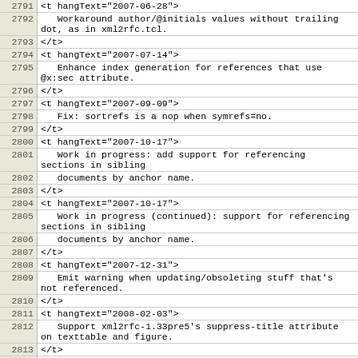| line | code |
| --- | --- |
| 2791 | <t hangText="2007-06-28"> |
| 2792 |   Workaround author/@initials values without trailing dot, as in xml2rfc.tcl. |
| 2793 | </t> |
| 2794 | <t hangText="2007-07-14"> |
| 2795 |   Enhance index generation for references that use @x:sec attribute. |
| 2796 | </t> |
| 2797 | <t hangText="2007-09-09"> |
| 2798 |   Fix: sortrefs is a nop when symrefs=no. |
| 2799 | </t> |
| 2800 | <t hangText="2007-10-17"> |
| 2801 |   Work in progress: add support for referencing sections in sibling |
| 2802 |   documents by anchor name. |
| 2803 | </t> |
| 2804 | <t hangText="2007-10-17"> |
| 2805 |   Work in progress (continued): support for referencing sections in sibling |
| 2806 |   documents by anchor name. |
| 2807 | </t> |
| 2808 | <t hangText="2007-12-31"> |
| 2809 |   Emit warning when updating/obsoleting stuff that's not referenced. |
| 2810 | </t> |
| 2811 | <t hangText="2008-02-03"> |
| 2812 |   Support xml2rfc-1.33pre5's suppress-title attribute on texttable and figure. |
| 2813 | </t> |
| 2814 | <t hangText="2008-02-06"> |
| 2815 |   Extension: allow &lt;eref> below &lt;cref>. |
| 2816 | </t> |
| 2817 | <t hangText="2008-02-17"> |